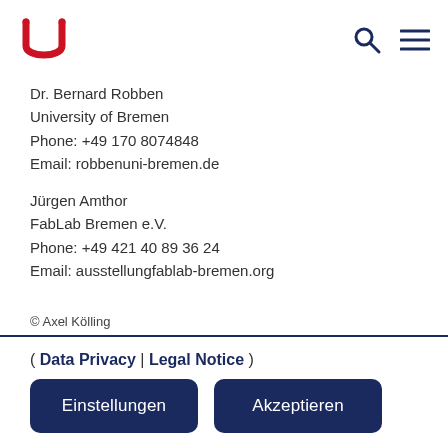University of Bremen logo, search icon, menu icon
Dr. Bernard Robben
University of Bremen
Phone: +49 170 8074848
Email: robbenuni-bremen.de
Jürgen Amthor
FabLab Bremen e.V.
Phone: +49 421 40 89 36 24
Email: ausstellungfablab-bremen.org
© Axel Kölling
( Data Privacy | Legal Notice )
Einstellungen  Akzeptieren